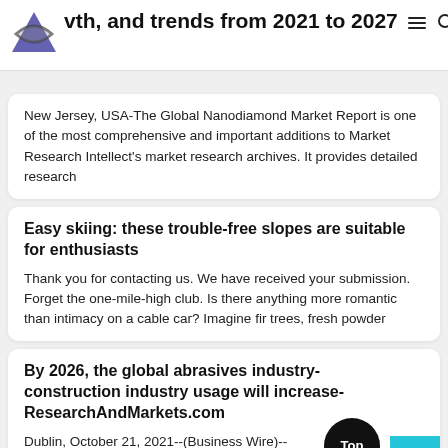wth, and trends from 2021 to 2027
New Jersey, USA-The Global Nanodiamond Market Report is one of the most comprehensive and important additions to Market Research Intellect's market research archives. It provides detailed research
Easy skiing: these trouble-free slopes are suitable for enthusiasts
Thank you for contacting us. We have received your submission. Forget the one-mile-high club. Is there anything more romantic than intimacy on a cable car? Imagine fir trees, fresh powder
By 2026, the global abrasives industry-construction industry usage will increase- ResearchAndMarkets.com
Dublin, October 21, 2021--(Business Wire)--